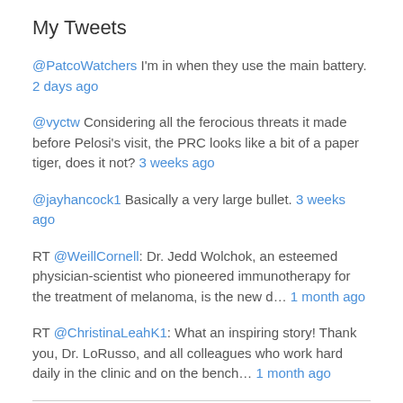My Tweets
@PatcoWatchers I'm in when they use the main battery. 2 days ago
@vyctw Considering all the ferocious threats it made before Pelosi's visit, the PRC looks like a bit of a paper tiger, does it not? 3 weeks ago
@jayhancock1 Basically a very large bullet. 3 weeks ago
RT @WeillCornell: Dr. Jedd Wolchok, an esteemed physician-scientist who pioneered immunotherapy for the treatment of melanoma, is the new d… 1 month ago
RT @ChristinaLeahK1: What an inspiring story! Thank you, Dr. LoRusso, and all colleagues who work hard daily in the clinic and on the bench… 1 month ago
Meta
Register